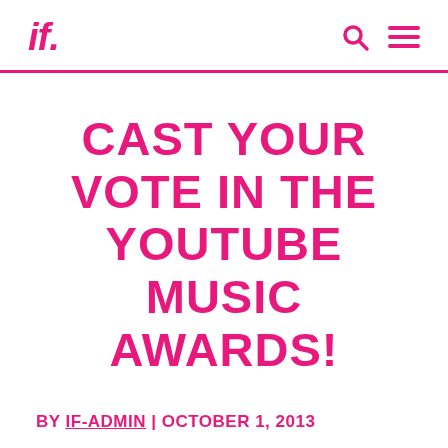if.
CAST YOUR VOTE IN THE YOUTUBE MUSIC AWARDS!
BY IF-ADMIN | OCTOBER 1, 2013